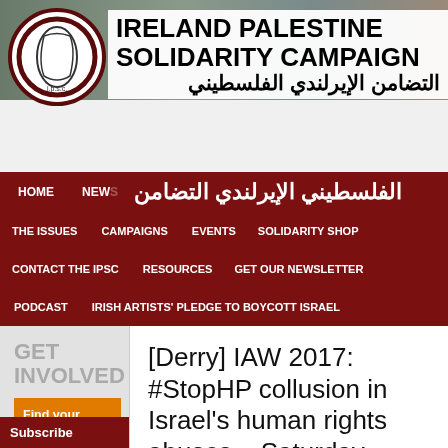[Figure (screenshot): Ireland Palestine Solidarity Campaign website screenshot showing logo, organization name in English and Arabic, navigation menu, sidebar with GET INVOLVED and Find your local activist group sections, and article title about IAW 2017 StopHP event]
IRELAND PALESTINE SOLIDARITY CAMPAIGN
التضامن الإيرلندي الفلسطيني
HOME | NEWS | THE ISSUES | CAMPAIGNS | EVENTS | SOLIDARITY SHOP | CONTACT THE IPSC | RESOURCES | GET OUR NEWSLETTER | PODCAST | IRISH ARTISTS' PLEDGE TO BOYCOTT ISRAEL
GET INVOLVED
Find your local activist group →
[Derry] IAW 2017: #StopHP collusion in Israel's human rights abuses – Saturday Information Stall (IPSC)
Subscribe